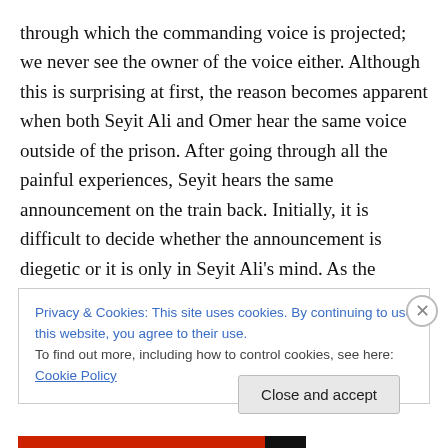through which the commanding voice is projected; we never see the owner of the voice either. Although this is surprising at first, the reason becomes apparent when both Seyit Ali and Omer hear the same voice outside of the prison. After going through all the painful experiences, Seyit hears the same announcement on the train back. Initially, it is difficult to decide whether the announcement is diegetic or it is only in Seyit Ali’s mind. As the announcement continues, the director cuts to Omer, thereby bridging the two inmates’ cognitions.
Privacy & Cookies: This site uses cookies. By continuing to use this website, you agree to their use.
To find out more, including how to control cookies, see here: Cookie Policy